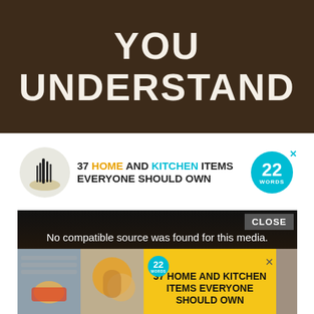[Figure (photo): Dark brown background with large white bold text reading 'YOU UNDERSTAND']
[Figure (infographic): Advertisement banner: '37 HOME AND KITCHEN ITEMS EVERYONE SHOULD OWN' with knife set thumbnail and 22 Words teal badge]
[Figure (screenshot): Video player with dark background showing error message 'No compatible source was found for this media.' with a CLOSE button]
[Figure (infographic): Yellow advertisement banner for '37 HOME AND KITCHEN ITEMS EVERYONE SHOULD OWN' with food photos and 22 Words badge]